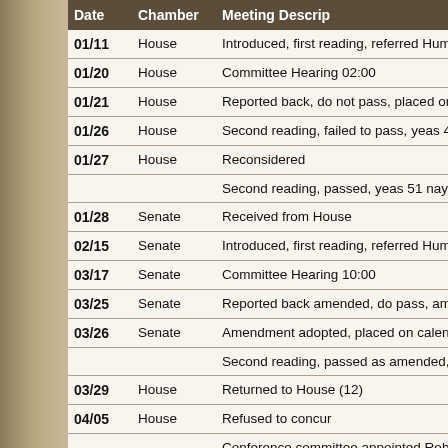| Date | Chamber | Meeting Descrip... |
| --- | --- | --- |
| 01/11 | House | Introduced, first reading, referred Human S... |
| 01/20 | House | Committee Hearing 02:00 |
| 01/21 | House | Reported back, do not pass, placed on cale... |
| 01/26 | House | Second reading, failed to pass, yeas 43 nay... |
| 01/27 | House | Reconsidered |
|  |  | Second reading, passed, yeas 51 nays 40 |
| 01/28 | Senate | Received from House |
| 02/15 | Senate | Introduced, first reading, referred Human S... |
| 03/17 | Senate | Committee Hearing 10:00 |
| 03/25 | Senate | Reported back amended, do pass, amendm... |
| 03/26 | Senate | Amendment adopted, placed on calendar |
|  |  | Second reading, passed as amended, yeas... |
| 03/29 | House | Returned to House (12) |
| 04/05 | House | Refused to concur |
|  |  | Conference committee appointed Rohr Feg... |
| 04/06 | Senate | Conference committee appointed K. Roers... |
| 04/12 | House | Reported back from conference committee... |
| 04/13 | House | Conference committee report adopted... |